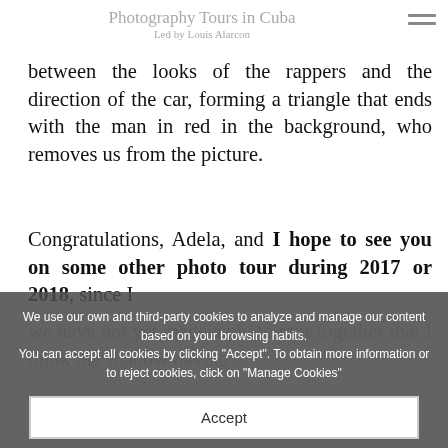Photography Tours in Cuba
Led by Louis Alarcon
between the looks of the rappers and the direction of the car, forming a triangle that ends with the man in red in the background, who removes us from the picture.
Congratulations, Adela, and I hope to see you on some other photo tour during 2017 or 2018, since I
[Figure (screenshot): Cookie consent overlay with text: We use our own and third-party cookies to analyze and manage our content based on your browsing habits. You can accept all cookies by clicking "Accept". To obtain more information or to reject cookies, click on "Manage Cookies". Buttons: Accept, Manage Cookies.]